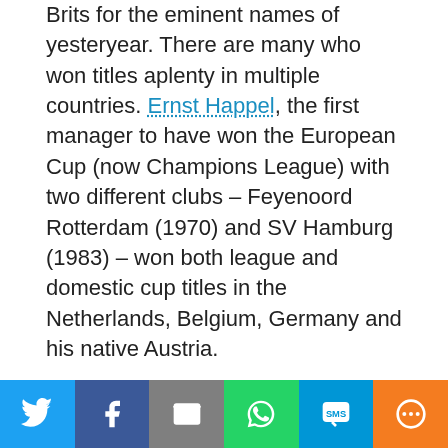Brits for the eminent names of yesteryear. There are many who won titles aplenty in multiple countries. Ernst Happel, the first manager to have won the European Cup (now Champions League) with two different clubs – Feyenoord Rotterdam (1970) and SV Hamburg (1983) – won both league and domestic cup titles in the Netherlands, Belgium, Germany and his native Austria.
Tomislav Ivic won eight league titles in six different countries – the erstwhile Yugoslavia (his native), The Netherlands, Belgium, Portugal, Spain and France.
The legendary Giovanni Trapattoni, who has had success
[Figure (other): Social sharing bar with six buttons: Twitter (blue), Facebook (dark blue), Email (gray), WhatsApp (green), SMS (light blue), More (orange)]